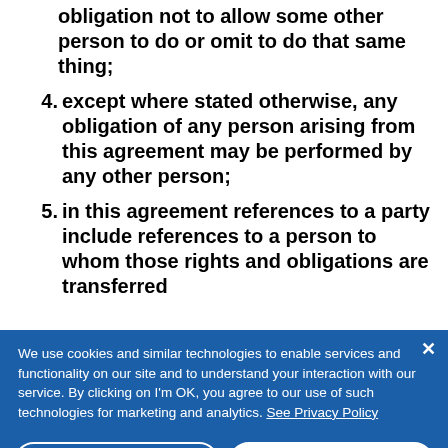obligation not to allow some other person to do or omit to do that same thing;
4. except where stated otherwise, any obligation of any person arising from this agreement may be performed by any other person;
5. in this agreement references to a party include references to a person to whom those rights and obligations are transferred
We use cookies and similar technologies to enable services and functionality on our site and to understand your interaction with our service. By clicking on I'm OK, you agree to our use of such technologies for marketing and analytics. See Privacy Policy
Cookie Settings   I'm OK